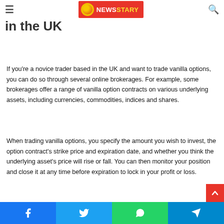NewsStary logo and navigation
How to trade vanilla options in the UK
If you're a novice trader based in the UK and want to trade vanilla options, you can do so through several online brokerages. For example, some brokerages offer a range of vanilla option contracts on various underlying assets, including currencies, commodities, indices and shares.
When trading vanilla options, you specify the amount you wish to invest, the option contract's strike price and expiration date, and whether you think the underlying asset's price will rise or fall. You can then monitor your position and close it at any time before expiration to lock in your profit or loss.